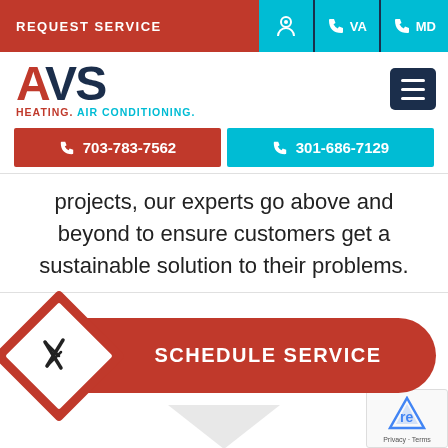REQUEST SERVICE | VA | MD
[Figure (logo): AVS Heating. Air Conditioning. logo with hamburger menu icon]
703-783-7562 | 301-686-7129
projects, our experts go above and beyond to ensure customers get a sustainable solution to their problems.
[Figure (infographic): SCHEDULE SERVICE button with tools icon diamond shape]